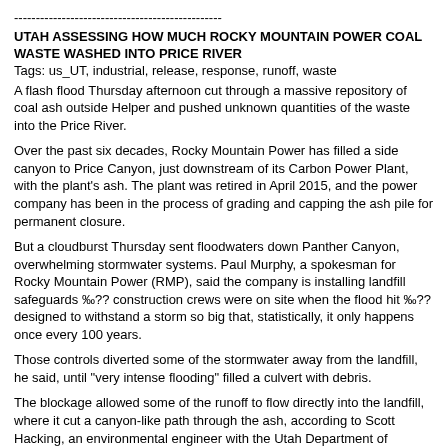------------------------------------------------
UTAH ASSESSING HOW MUCH ROCKY MOUNTAIN POWER COAL WASTE WASHED INTO PRICE RIVER
Tags: us_UT, industrial, release, response, runoff, waste
A flash flood Thursday afternoon cut through a massive repository of coal ash outside Helper and pushed unknown quantities of the waste into the Price River.
Over the past six decades, Rocky Mountain Power has filled a side canyon to Price Canyon, just downstream of its Carbon Power Plant, with the plant's ash. The plant was retired in April 2015, and the power company has been in the process of grading and capping the ash pile for permanent closure.
But a cloudburst Thursday sent floodwaters down Panther Canyon, overwhelming stormwater systems. Paul Murphy, a spokesman for Rocky Mountain Power (RMP), said the company is installing landfill safeguards ‰?? construction crews were on site when the flood hit ‰?? designed to withstand a storm so big that, statistically, it only happens once every 100 years.
Those controls diverted some of the stormwater away from the landfill, he said, until "very intense flooding" filled a culvert with debris.
The blockage allowed some of the runoff to flow directly into the landfill, where it cut a canyon-like path through the ash, according to Scott Hacking, an environmental engineer with the Utah Department of Environmental Quality (DEQ).
------------------------------------------------
STUDY: AT LEAST 6 MILLION AT RISK FROM PFOA CHEMICAL FAMILY
Tags: public, discovery, environmental, other_chemical